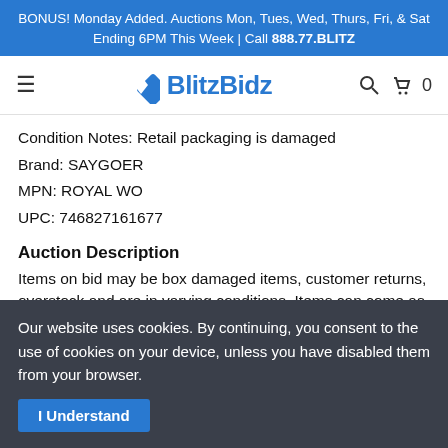BONUS! Monday Added. Auctions Mon, Tues, Wed, Thurs, Fri, & Sat Ending 6PM This Week | Call 888.77.BLITZ
[Figure (logo): BlitzBidz logo with blue diamond shape and text]
Condition Notes: Retail packaging is damaged
Brand: SAYGOER
MPN: ROYAL WO
UPC: 746827161677
Auction Description
Items on bid may be box damaged items, customer returns, overstock and are in varying conditions. Items can come as new, open box, used, complete, missing pieces, or damaged. While a condition may be listed in the the title, description, OR
Our website uses cookies. By continuing, you consent to the use of cookies on your device, unless you have disabled them from your browser.